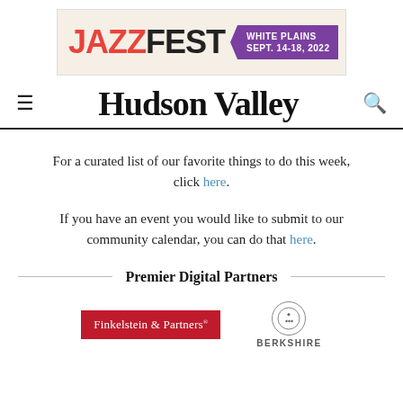[Figure (illustration): JazzFest White Plains Sept. 14-18, 2022 banner advertisement with orange/red JAZZ text, black FEST text, and purple badge]
Hudson Valley
For a curated list of our favorite things to do this week, click here.
If you have an event you would like to submit to our community calendar, you can do that here.
Premier Digital Partners
[Figure (logo): Finkelstein & Partners logo in red/white]
[Figure (logo): Berkshire logo with circular emblem]